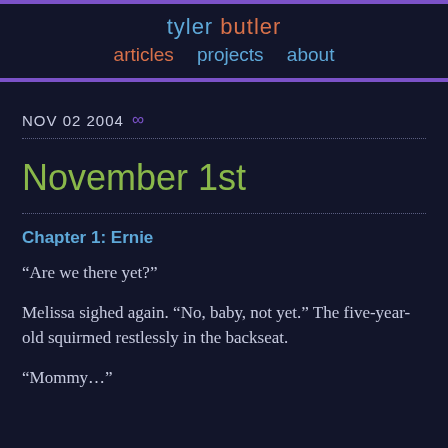tyler butler
articles   projects   about
NOV 02 2004 ∞
November 1st
Chapter 1: Ernie
“Are we there yet?”
Melissa sighed again. “No, baby, not yet.” The five-year-old squirmed restlessly in the backseat.
“Mommy…”